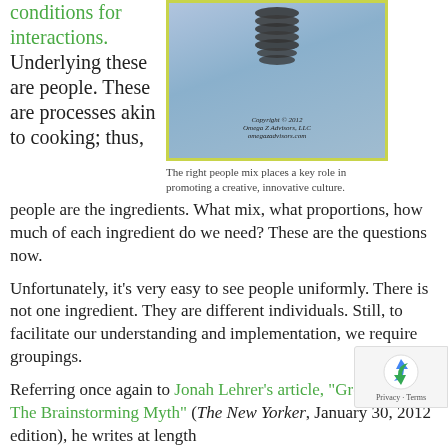conditions for interactions. Underlying these are people. These are processes akin to cooking; thus, people are the ingredients. What mix, what proportions, how much of each ingredient do we need? These are the questions now.
[Figure (photo): Photo of a lightbulb filament against a blue sky background, with copyright notice: Copyright © 2012 Omega Z Advisors, LLC omegazadvisors.com]
The right people mix places a key role in promoting a creative, innovative culture.
Unfortunately, it's very easy to see people uniformly. There is not one ingredient. They are different individuals. Still, to facilitate our understanding and implementation, we require groupings.
Referring once again to Jonah Lehrer's article, "Groupthink – The Brainstorming Myth" (The New Yorker, January 30, 2012 edition), he writes at length